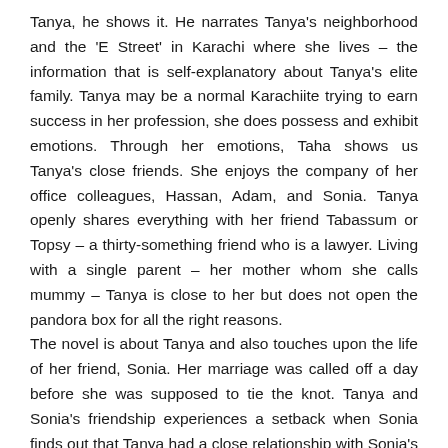Tanya, he shows it. He narrates Tanya's neighborhood and the 'E Street' in Karachi where she lives – the information that is self-explanatory about Tanya's elite family. Tanya may be a normal Karachiite trying to earn success in her profession, she does possess and exhibit emotions. Through her emotions, Taha shows us Tanya's close friends. She enjoys the company of her office colleagues, Hassan, Adam, and Sonia. Tanya openly shares everything with her friend Tabassum or Topsy – a thirty-something friend who is a lawyer. Living with a single parent – her mother whom she calls mummy – Tanya is close to her but does not open the pandora box for all the right reasons.
The novel is about Tanya and also touches upon the life of her friend, Sonia. Her marriage was called off a day before she was supposed to tie the knot. Tanya and Sonia's friendship experiences a setback when Sonia finds out that Tanya had a close relationship with Sonia's would-be